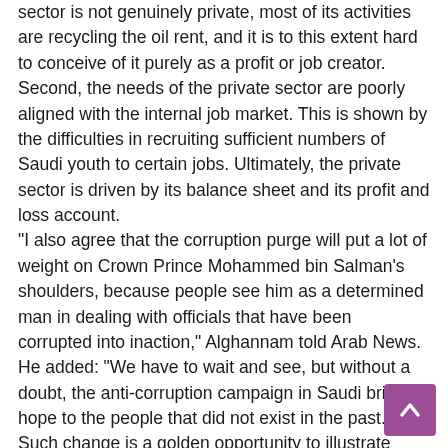sector is not genuinely private, most of its activities are recycling the oil rent, and it is to this extent hard to conceive of it purely as a profit or job creator. Second, the needs of the private sector are poorly aligned with the internal job market. This is shown by the difficulties in recruiting sufficient numbers of Saudi youth to certain jobs. Ultimately, the private sector is driven by its balance sheet and its profit and loss account. "I also agree that the corruption purge will put a lot of weight on Crown Prince Mohammed bin Salman's shoulders, because people see him as a determined man in dealing with officials that have been corrupted into inaction," Alghannam told Arab News. He added: “We have to wait and see, but without a doubt, the anti-corruption campaign in Saudi brings hope to the people that did not exist in the past. Such change is a golden opportunity to illustrate what the Saudi Vision can bring to the people.” Dr. Majed bin Abdullah Al-Hedayan, an analyst, FDI expert
[Figure (other): Purple scroll-to-top button with upward arrow in bottom right corner]